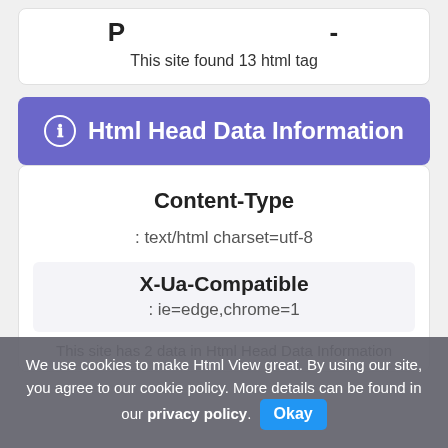This site found 13 html tag
Html Head Data Information
Content-Type
: text/html charset=utf-8
X-Ua-Compatible
: ie=edge,chrome=1
This site has 2 data in Html Head Data Information
We use cookies to make Html View great. By using our site, you agree to our cookie policy. More details can be found in our privacy policy. Okay